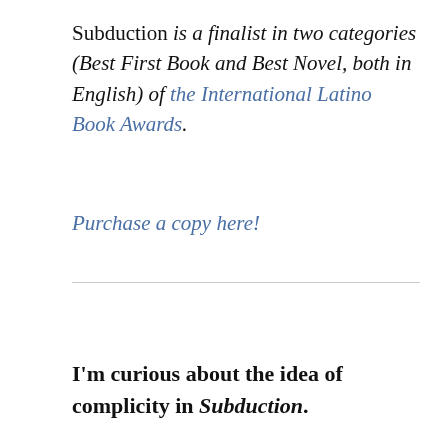Subduction is a finalist in two categories (Best First Book and Best Novel, both in English) of the International Latino Book Awards.
Purchase a copy here!
I'm curious about the idea of complicity in Subduction.